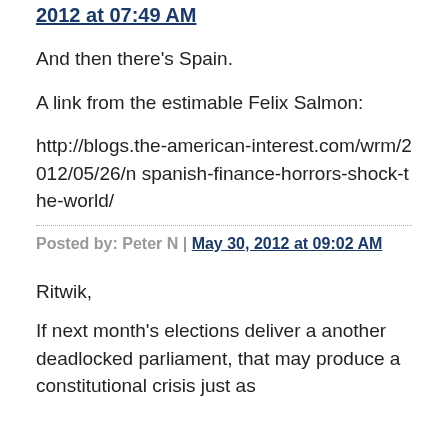2012 at 07:49 AM
And then there's Spain.
A link from the estimable Felix Salmon:
http://blogs.the-american-interest.com/wrm/2012/05/26/n spanish-finance-horrors-shock-the-world/
Posted by: Peter N | May 30, 2012 at 09:02 AM
Ritwik,
If next month's elections deliver a another deadlocked parliament, that may produce a constitutional crisis just as